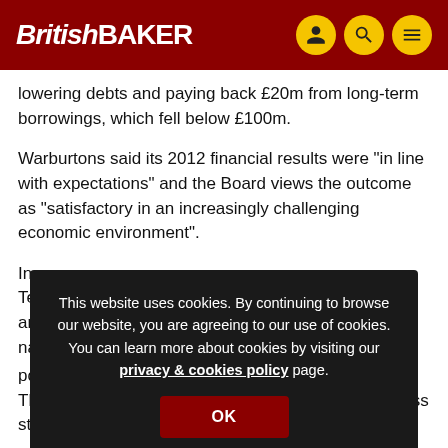British BAKER
lowering debts and paying back £20m from long-term borrowings, which fell below £100m.
Warburtons said its 2012 financial results were "in line with expectations" and the Board views the outcome as "satisfactory in an increasingly challenging economic environment".
In... Te... an... na...
[Figure (screenshot): Cookie consent overlay on British Baker website reading: 'This website uses cookies. By continuing to browse our website, you are agreeing to our use of cookies. You can learn more about cookies by visiting our privacy & cookies policy page.' with an OK button.]
poppy seed muffins, and three-pack of white rolls. Three lines have also been launched in Tesco Express stores.